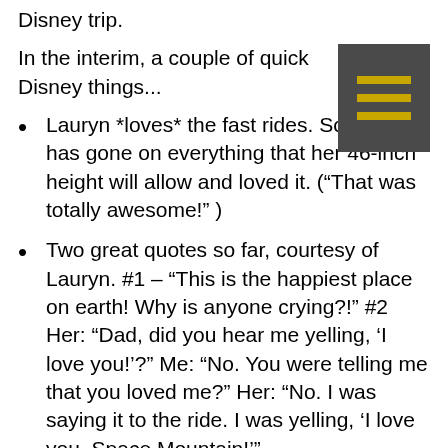Disney trip.
In the interim, a couple of quick Disney things...
Lauryn *loves* the fast rides. So far she has gone on everything that her 46-inch height will allow and loved it. (“That was totally awesome!” )
Two great quotes so far, courtesy of Lauryn. #1 – “This is the happiest place on earth! Why is anyone crying?!” #2 Her: “Dad, did you hear me yelling, ‘I love you!’?” Me: “No. You were telling me that you loved me?” Her: “No. I was saying it to the ride. I was yelling, ‘I love you, Space Mountain!’”
Pain is your feet’s way of letting you know that you’re doing Disney correctly. I’d like to create a modified version of a diabetes sock that I will call the Disney sock that will force more blood and circulation into your feet. Trust me; come the 12th hour at the park, you’ll thank me. Disney trips with me have